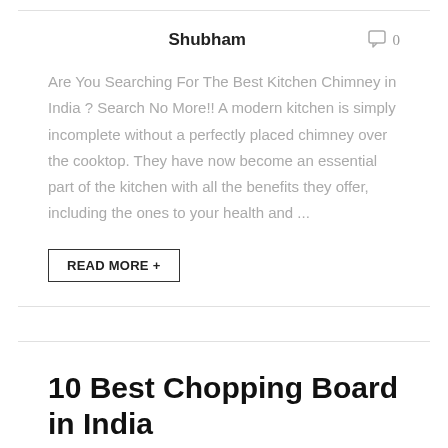Shubham
0
Are You Searching For The Best Kitchen Chimney in India ? Search No More!! A modern kitchen is simply incomplete without a perfectly placed chimney over the cooktop. They have now become an essential part of the kitchen with all the benefits they offer, including the ones to your health and ...
READ MORE +
10 Best Chopping Board in India